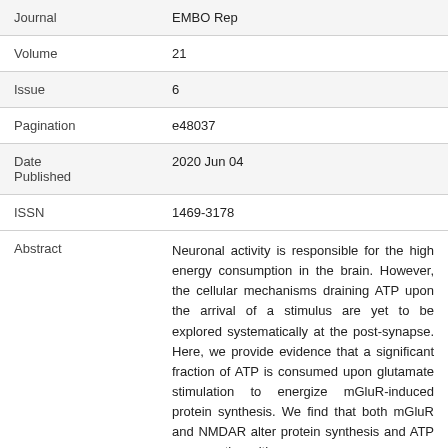| Journal | EMBO Rep |
| Volume | 21 |
| Issue | 6 |
| Pagination | e48037 |
| Date Published | 2020 Jun 04 |
| ISSN | 1469-3178 |
| Abstract | Neuronal activity is responsible for the high energy consumption in the brain. However, the cellular mechanisms draining ATP upon the arrival of a stimulus are yet to be explored systematically at the post-synapse. Here, we provide evidence that a significant fraction of ATP is consumed upon glutamate stimulation to energize mGluR-induced protein synthesis. We find that both mGluR and NMDAR alter protein synthesis and ATP consumption with |